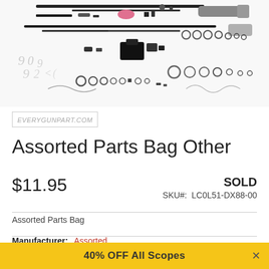[Figure (photo): Exploded view of assorted gun parts laid out on white background — springs, pins, rods, washers, screws, O-rings, and various small mechanical components]
[Figure (logo): EVERYGUNPART.COM logo in a rectangular border]
Assorted Parts Bag Other
$11.95
SOLD
SKU#:  LC0L51-DX88-00
Assorted Parts Bag
Manufacturer:  Assorted
Model:
40% OFF All Scopes